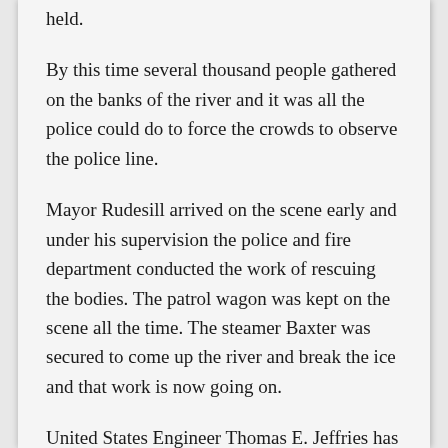held.
By this time several thousand people gathered on the banks of the river and it was all the police could do to force the crowds to observe the police line.
Mayor Rudesill arrived on the scene early and under his supervision the police and fire department conducted the work of rescuing the bodies. The patrol wagon was kept on the scene all the time. The steamer Baxter was secured to come up the river and break the ice and that work is now going on.
United States Engineer Thomas E. Jeffries has sent for a diver from one of the